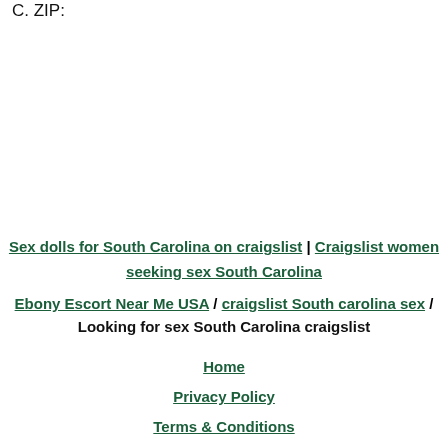C. ZIP:
Sex dolls for South Carolina on craigslist | Craigslist women seeking sex South Carolina
Ebony Escort Near Me USA / craigslist South carolina sex / Looking for sex South Carolina craigslist
Home
Privacy Policy
Terms & Conditions